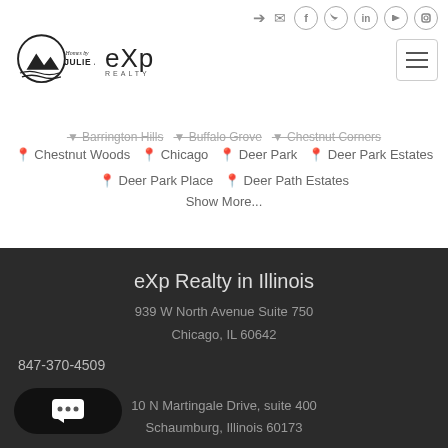[Figure (logo): Homes by Julie Anne logo with eXp Realty branding and social media icons in top bar]
▼ Barrington Hills  ▼ Buffalo Grove  ▼ Chestnut Corners
📍 Chestnut Woods  📍 Chicago  📍 Deer Park  📍 Deer Park Estates
📍 Deer Park Place  📍 Deer Path Estates
Show More...
eXp Realty in Illinois
939 W North Avenue Suite 750
Chicago, IL 60642
847-370-4509
10 N Martingale Drive, suite 400
Schaumburg, Illinois 60173